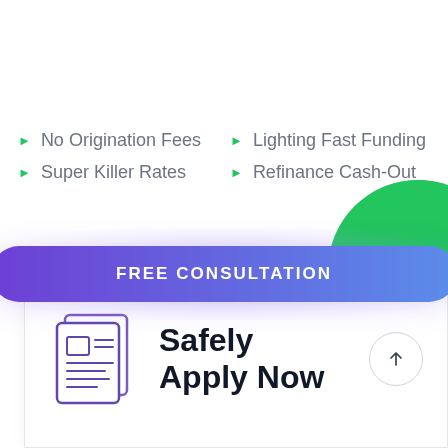No Origination Fees
Super Killer Rates
Lighting Fast Funding
Refinance Cash-Out
[Figure (illustration): A gradient purple-to-blue pill-shaped button labeled FREE CONSULTATION with a soft purple glow effect around it]
[Figure (illustration): Large green circle partially visible at the top right as a decorative background element]
[Figure (illustration): Document icon with lines representing text, styled in purple/indigo outline style]
Safely Apply Now